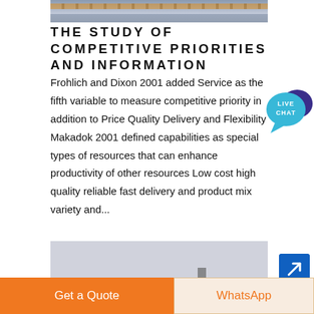[Figure (photo): Top portion of a building exterior photo, partially visible]
THE STUDY OF COMPETITIVE PRIORITIES AND INFORMATION
Frohlich and Dixon 2001 added Service as the fifth variable to measure competitive priority in addition to Price Quality Delivery and Flexibility Makadok 2001 defined capabilities as special types of resources that can enhance productivity of other resources Low cost high quality reliable fast delivery and product mix variety and...
[Figure (photo): Bottom image showing equipment or machinery silhouetted against a grey sky]
[Figure (other): Live Chat bubble icon in teal and purple]
[Figure (other): Blue navigation arrow button]
Get a Quote
WhatsApp